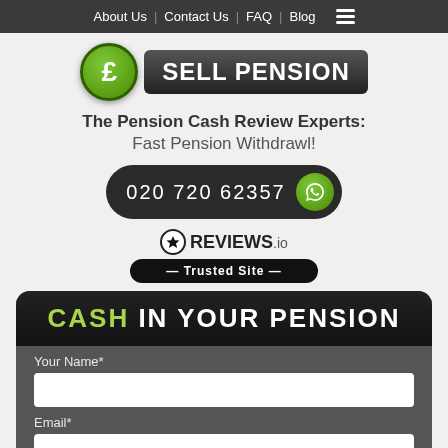About Us | Contact Us | FAQ | Blog
[Figure (logo): Sell Pension logo with green pound coin circle and dark pill-shaped text reading SELL PENSION]
The Pension Cash Review Experts: Fast Pension Withdrawl!
020 720 62357
[Figure (logo): REVIEWS.io logo with star circle icon, and Trusted Site banner below]
CASH IN YOUR PENSION
Your Name*
Email*
Age*